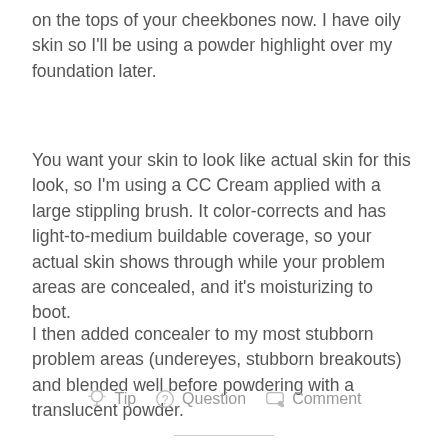on the tops of your cheekbones now. I have oily skin so I'll be using a powder highlight over my foundation later.
You want your skin to look like actual skin for this look, so I'm using a CC Cream applied with a large stippling brush. It color-corrects and has light-to-medium buildable coverage, so your actual skin shows through while your problem areas are concealed, and it's moisturizing to boot.
I then added concealer to my most stubborn problem areas (undereyes, stubborn breakouts) and blended well before powdering with a translucent powder.
Tip  Question  Comment